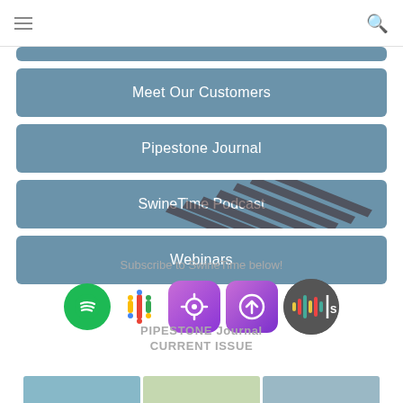Navigation menu and search
(partial button - top, cropped)
Meet Our Customers
Pipestone Journal
SwineTime Podcast
Webinars
Subscribe to SwineTime below!
[Figure (logo): Podcast platform icons: Spotify, Google Podcasts, Apple Podcasts, Overcast/Castro, Stitcher]
PIPESTONE Journal
CURRENT ISSUE
[Figure (photo): Partial bottom image strip showing journal cover photos]